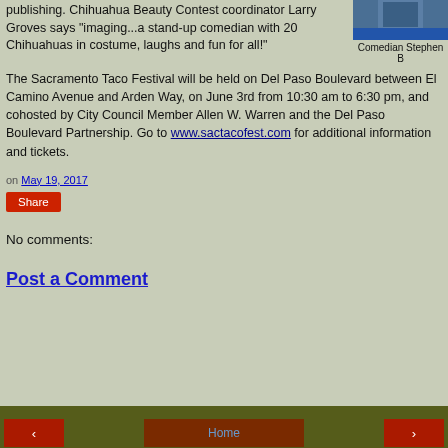publishing. Chihuahua Beauty Contest coordinator Larry Groves says “imaging...a stand-up comedian with 20 Chihuahuas in costume, laughs and fun for all!”
[Figure (photo): Photo of Comedian Stephen B in blue clothing]
Comedian Stephen B
The Sacramento Taco Festival will be held on Del Paso Boulevard between El Camino Avenue and Arden Way, on June 3rd from 10:30 am to 6:30 pm, and cohosted by City Council Member Allen W. Warren and the Del Paso Boulevard Partnership. Go to www.sactacofest.com for additional information and tickets.
on May 19, 2017
Share
No comments:
Post a Comment
Home